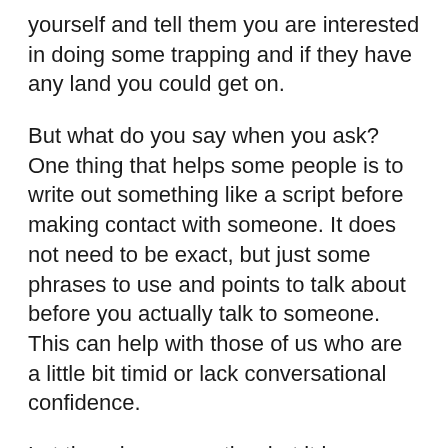yourself and tell them you are interested in doing some trapping and if they have any land you could get on.
But what do you say when you ask?  One thing that helps some people is to write out something like a script before making contact with someone.  It does not need to be exact, but just some phrases to use and points to talk about before you actually talk to someone.  This can help with those of us who are a little bit timid or lack conversational confidence.
Let them know exactly what it is you are after.  From what I have seen in Nebraska, obtaining permission to trap is easier than obtaining permission to hunt deer.  Let them know you are only looking for permission to trap.
Once I have gotten the OK for trapping I will always ask two additional questions.  I will ask if it is acceptable to drive onto the property.  Do not assume it is OK to drive on the property just because you have permission to trap on it.  A lot of guys do